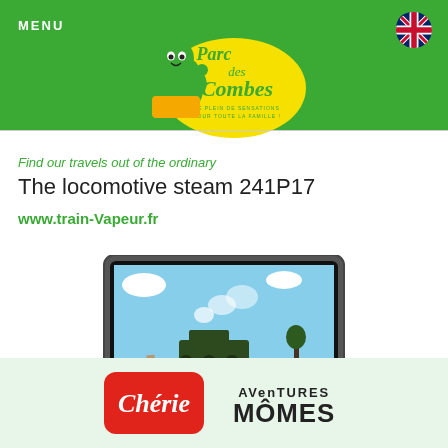MENU
[Figure (logo): Parc des Combes logo with green cartoon character and yellow splash, tagline LE PLEIN DE SENSATIONS POUR TOUTE LA FAMILLE!]
[Figure (logo): UK flag / Union Jack circle icon]
Find our travels out of the ordinary
The locomotive steam 241P17
www.train-Vapeur.fr
[Figure (screenshot): Computer monitor (iMac-style) displaying a photograph of a steam locomotive 241P17 travelling through countryside with green fields and blue sky]
[Figure (logo): Chérie FM radio logo - red rounded rectangle with white cursive Chérie text]
[Figure (logo): Aventures Mômes logo - dark text with stylized lettering AVenTURES MÔMES]